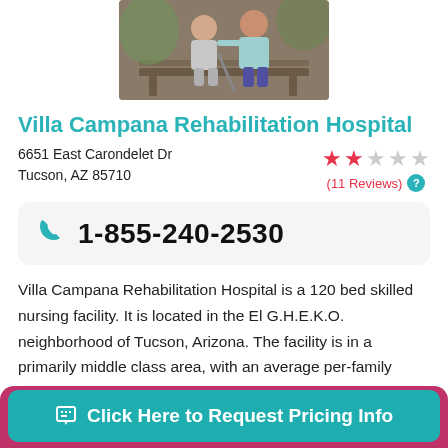[Figure (photo): Two people sitting on a bench outdoors, one elderly person with a cane and a caregiver]
Villa Campana Rehabilitation Hospital
6651 East Carondelet Dr
Tucson, AZ 85710
2 out of 5 stars (11 Reviews)
1-855-240-2530
Villa Campana Rehabilitation Hospital is a 120 bed skilled nursing facility. It is located in the El G.H.E.K.O. neighborhood of Tucson, Arizona. The facility is in a primarily middle class area, with an average per-family income of $42,196. ...
Click Here to Request Pricing Info